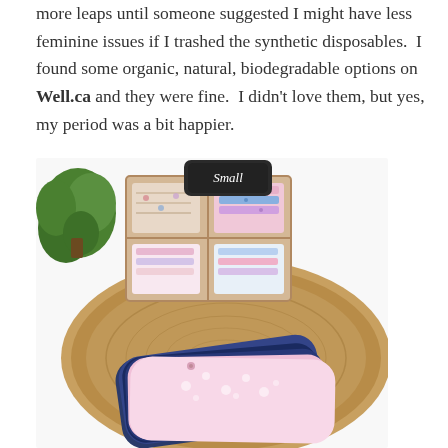more leaps until someone suggested I might have less feminine issues if I trashed the synthetic disposables.  I found some organic, natural, biodegradable options on Well.ca and they were fine.  I didn't love them, but yes, my period was a bit happier.
[Figure (photo): Photo of cloth menstrual pads in floral patterns (pink, blue, navy) stacked on a wooden slab, with a wooden organizer box holding folded pads labeled 'Small', and a green plant in the background, on a white surface.]